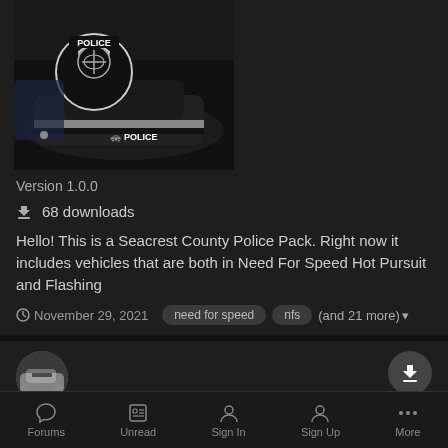[Figure (screenshot): Screenshot of a police car mod thumbnail showing a police cruiser with POLICE badge logo on a dark background]
Version 1.0.0
68 downloads
Hello! This is a Seacrest County Police Pack. Right now it includes vehicles that are both in Need For Speed Hot Pursuit and Flashing
November 29, 2021   need for speed   nfs   (and 21 more)
[Figure (photo): Small circular avatar thumbnail showing a police car]
Need For Speed Hot Pursuit Lightpatterns
Forums   Unread   Sign In   Sign Up   More